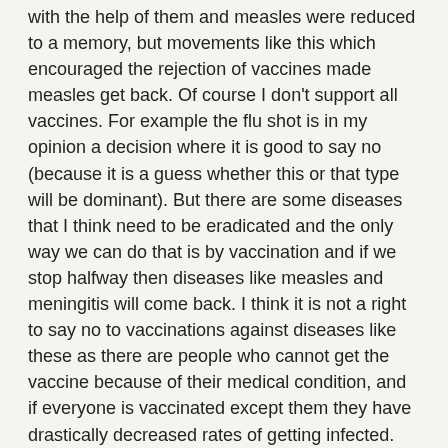with the help of them and measles were reduced to a memory, but movements like this which encouraged the rejection of vaccines made measles get back. Of course I don't support all vaccines. For example the flu shot is in my opinion a decision where it is good to say no (because it is a guess whether this or that type will be dominant). But there are some diseases that I think need to be eradicated and the only way we can do that is by vaccination and if we stop halfway then diseases like measles and meningitis will come back. I think it is not a right to say no to vaccinations against diseases like these as there are people who cannot get the vaccine because of their medical condition, and if everyone is vaccinated except them they have drastically decreased rates of getting infected.
About autism. I have a close relative who lived her life looking after autistic kids (educating them, improving their abilities). I don't know if this is just some weird coincidence but she never seen a kid who have started showing autistic behavior after being vaccinated (she knows these things as she needs to record details like this from